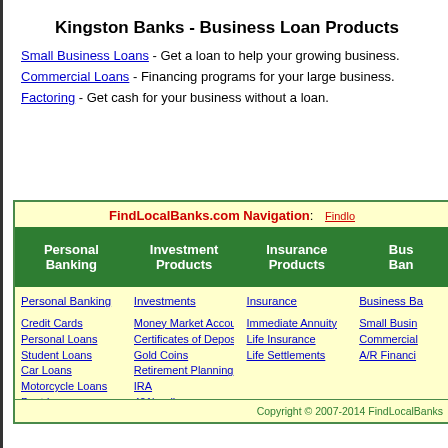Kingston Banks - Business Loan Products
Small Business Loans - Get a loan to help your growing business.
Commercial Loans - Financing programs for your large business.
Factoring - Get cash for your business without a loan.
FindLocalBanks.com Navigation:
| Personal Banking | Investment Products | Insurance Products | Business Banking |
| --- | --- | --- | --- |
| Personal Banking | Investments | Insurance | Business Ba... |
| Credit Cards
Personal Loans
Student Loans
Car Loans
Motorcycle Loans
Boat Loans
RV Loans | Money Market Accounts
Certificates of Deposit
Gold Coins
Retirement Planning
IRA
401k rollover | Immediate Annuity
Life Insurance
Life Settlements | Small Busin...
Commercial ...
A/R Financi... |
Copyright © 2007-2014 FindLocalBanks...